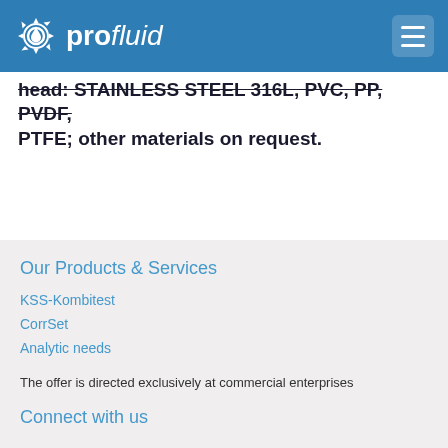profluid
head: STAINLESS STEEL 316L, PVC, PP, PVDF, PTFE; other materials on request.
Our Products & Services
KSS-Kombitest
CorrSet
Analytic needs
The offer is directed exclusively at commercial enterprises
Connect with us